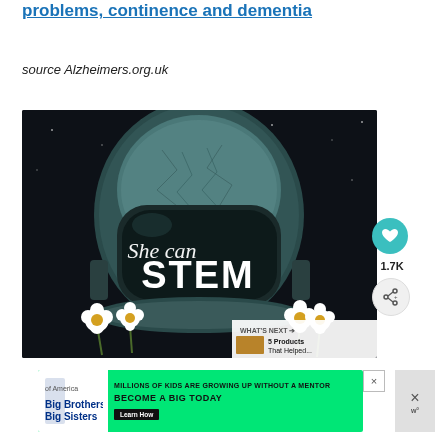problems, continence and dementia
source Alzheimers.org.uk
[Figure (illustration): Astronaut helmet illustration with 'She can STEM' text, decorated with white flowers against a dark space background]
WHAT'S NEXT → 5 Products That Helped...
[Figure (infographic): Advertisement for Big Brothers Big Sisters: MILLIONS OF KIDS ARE GROWING UP WITHOUT A MENTOR. BECOME A BIG TODAY. Learn How]